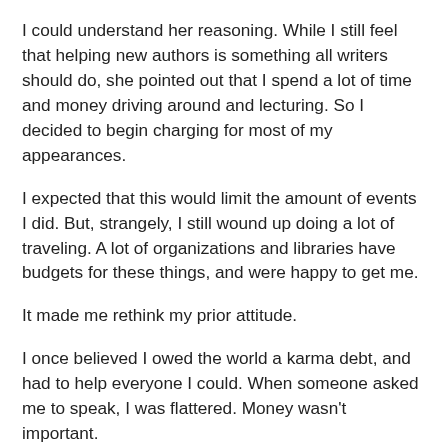I could understand her reasoning. While I still feel that helping new authors is something all writers should do, she pointed out that I spend a lot of time and money driving around and lecturing. So I decided to begin charging for most of my appearances.
I expected that this would limit the amount of events I did. But, strangely, I still wound up doing a lot of traveling. A lot of organizations and libraries have budgets for these things, and were happy to get me.
It made me rethink my prior attitude.
I once believed I owed the world a karma debt, and had to help everyone I could. When someone asked me to speak, I was flattered. Money wasn't important.
But then I realized that money was important. I'm a professional writer, and I get paid for doing that. If I'm being approached as an expert on the publishing world, and headlining events where I speak for two, three, or four hours, what's the difference between me and a professional